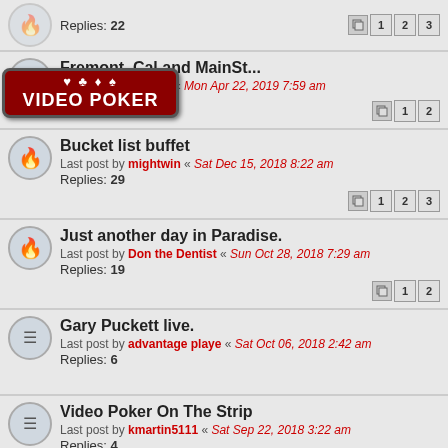Replies: 22 [pages 1 2 3]
Fremont, Cal,and MainSt...
Last post by billryan « Mon Apr 22, 2019 7:59 am
[pages 1 2]
[Figure (logo): Video Poker badge overlay with card suit symbols]
Bucket list buffet
Last post by mightwin « Sat Dec 15, 2018 8:22 am
Replies: 29 [pages 1 2 3]
Just another day in Paradise.
Last post by Don the Dentist « Sun Oct 28, 2018 7:29 am
Replies: 19 [pages 1 2]
Gary Puckett live.
Last post by advantage playe « Sat Oct 06, 2018 2:42 am
Replies: 6
Video Poker On The Strip
Last post by kmartin5111 « Sat Sep 22, 2018 3:22 am
Replies: 4
Doctors Stunned! Mole & Skin Tag Removal
n/a
This site uses cookies for personalized content and analytics. By continuing to use this site, you agree to this use. Close